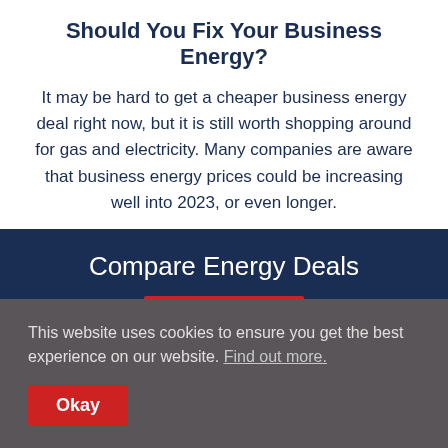Should You Fix Your Business Energy?
It may be hard to get a cheaper business energy deal right now, but it is still worth shopping around for gas and electricity. Many companies are aware that business energy prices could be increasing well into 2023, or even longer.
Compare Energy Deals
This website uses cookies to ensure you get the best experience on our website. Find out more.
Okay